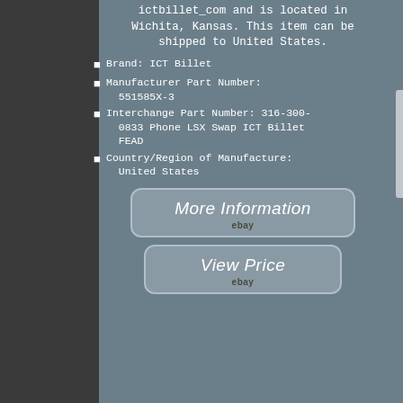ictbillet_com and is located in Wichita, Kansas. This item can be shipped to United States.
Brand: ICT Billet
Manufacturer Part Number: 551585X-3
Interchange Part Number: 316-300-0833 Phone LSX Swap ICT Billet FEAD
Country/Region of Manufacture: United States
[Figure (screenshot): Button labeled More Information with eBay logo]
[Figure (screenshot): Button labeled View Price with eBay logo]